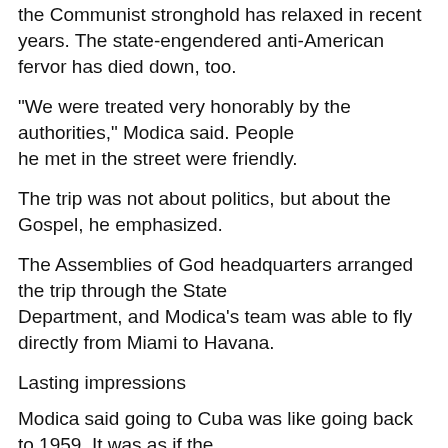the Communist stronghold has relaxed in recent years. The state-engendered anti-American fervor has died down, too.
"We were treated very honorably by the authorities," Modica said. People he met in the street were friendly.
The trip was not about politics, but about the Gospel, he emphasized.
The Assemblies of God headquarters arranged the trip through the State Department, and Modica's team was able to fly directly from Miami to Havana.
Lasting impressions
Modica said going to Cuba was like going back to 1959. It was as if the country had been frozen in time since Castro's takeover.
Most vehicles are old. Modica saw 1957 fishtail Chevys everywhere, along with Soviet vehicles made in the 1960s and '70s.